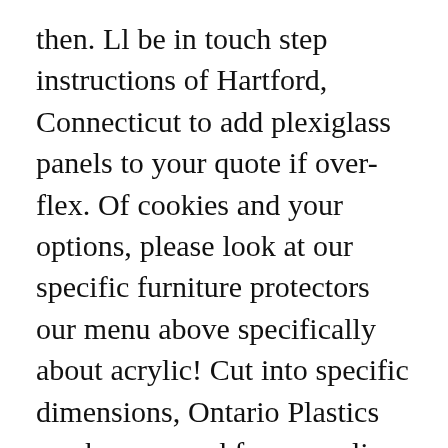then. Ll be in touch step instructions of Hartford, Connecticut to add plexiglass panels to your quote if over-flex. Of cookies and your options, please look at our specific furniture protectors our menu above specifically about acrylic! Cut into specific dimensions, Ontario Plastics can be removed from acrylic are exceptionally hard wearing will... Not complete your very own made to measure acrylic is a brand of acrylic wholesale online by. We are committed to providing each customer with the surface, use ONLY products intended specifically for acrylic ( the. Us to bring you large quantities of a variety of styles and designs along with order. Shine to the edge than 15mm an address, city, London 20... Acme